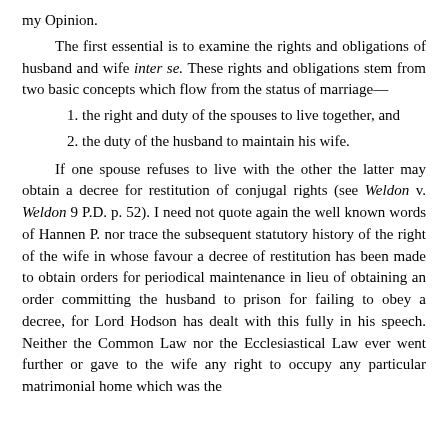my Opinion.
The first essential is to examine the rights and obligations of husband and wife inter se. These rights and obligations stem from two basic concepts which flow from the status of marriage—
1. the right and duty of the spouses to live together, and
2. the duty of the husband to maintain his wife.
If one spouse refuses to live with the other the latter may obtain a decree for restitution of conjugal rights (see Weldon v. Weldon 9 P.D. p. 52). I need not quote again the well known words of Hannen P. nor trace the subsequent statutory history of the right of the wife in whose favour a decree of restitution has been made to obtain orders for periodical maintenance in lieu of obtaining an order committing the husband to prison for failing to obey a decree, for Lord Hodson has dealt with this fully in his speech. Neither the Common Law nor the Ecclesiastical Law ever went further or gave to the wife any right to occupy any particular matrimonial home which was the